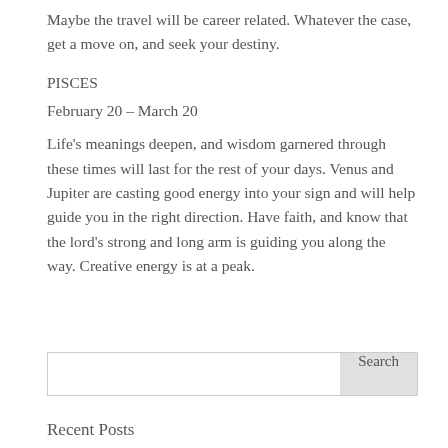Maybe the travel will be career related. Whatever the case, get a move on, and seek your destiny.
PISCES
February 20 – March 20
Life's meanings deepen, and wisdom garnered through these times will last for the rest of your days. Venus and Jupiter are casting good energy into your sign and will help guide you in the right direction. Have faith, and know that the lord's strong and long arm is guiding you along the way. Creative energy is at a peak.
Search
Recent Posts